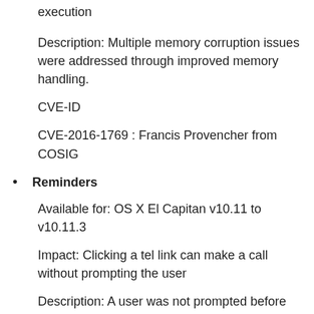execution
Description: Multiple memory corruption issues were addressed through improved memory handling.
CVE-ID
CVE-2016-1769 : Francis Provencher from COSIG
Reminders
Available for: OS X El Capitan v10.11 to v10.11.3
Impact: Clicking a tel link can make a call without prompting the user
Description: A user was not prompted before invoking a call. This was addressed through